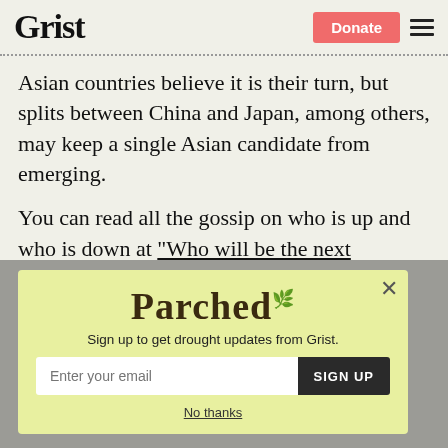Grist | Donate
Asian countries believe it is their turn, but splits between China and Japan, among others, may keep a single Asian candidate from emerging.
You can read all the gossip on who is up and who is down at “Who will be the next
[Figure (screenshot): Modal popup with Parched logo, sign-up form for drought updates from Grist, email input, SIGN UP button, and No thanks link]
Sign up to get drought updates from Grist.
No thanks